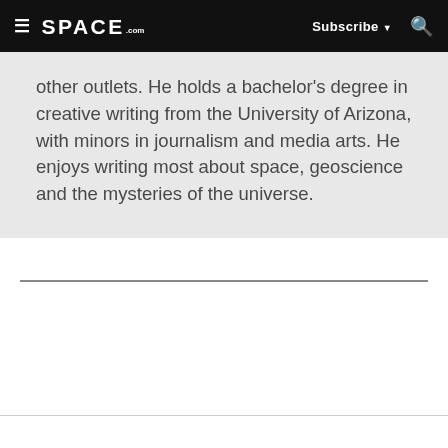≡  SPACE.com  Subscribe ▼  🔍
other outlets. He holds a bachelor's degree in creative writing from the University of Arizona, with minors in journalism and media arts. He enjoys writing most about space, geoscience and the mysteries of the universe.